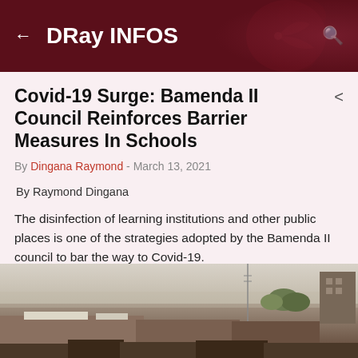DRay INFOS
Covid-19 Surge: Bamenda II Council Reinforces Barrier Measures In Schools
By Dingana Raymond - March 13, 2021
By Raymond Dingana
The disinfection of learning institutions and other public places is one of the strategies adopted by the Bamenda II council to bar the way to Covid-19.
[Figure (photo): Outdoor photo showing rooftops of buildings, trees, power lines, and a hazy sky, with urban structures in the background]